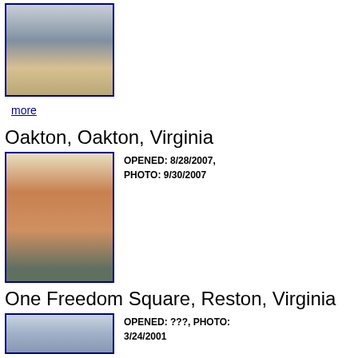[Figure (photo): Street-level photo of a multi-story parking garage with a Starbucks Coffee at the base, construction barriers visible on the street]
more
Oakton, Oakton, Virginia
[Figure (photo): Starbucks Coffee store in a strip mall with green awnings and the Starbucks logo visible on the exterior]
OPENED: 8/28/2007, PHOTO: 9/30/2007
One Freedom Square, Reston, Virginia
[Figure (photo): Exterior of an office building with large windows and stone facade]
OPENED: ???, PHOTO: 3/24/2001